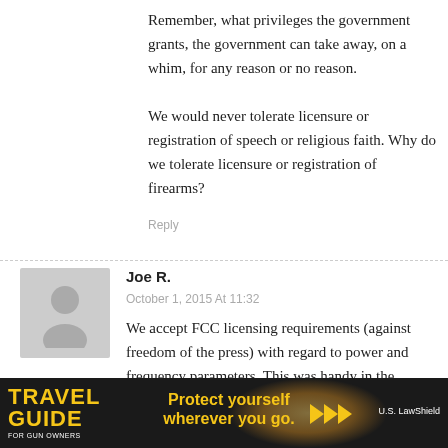Remember, what privileges the government grants, the government can take away, on a whim, for any reason or no reason.
We would never tolerate licensure or registration of speech or religious faith. Why do we tolerate licensure or registration of firearms?
Reply
Joe R.
October 1, 2015 At 11:32
We accept FCC licensing requirements (against freedom of the press) with regard to power and frequency parameters. This was handy in the 1950’s-1960’s to prevent overrun of ... ing the early
[Figure (illustration): Advertisement banner for Travel Guide for Gun Owners featuring the text 'Protect yourself wherever you go.' with yellow arrows and US LawShield branding on dark background]